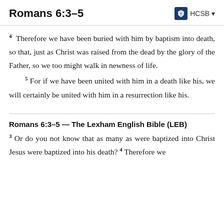Romans 6:3–5
4 Therefore we have been buried with him by baptism into death, so that, just as Christ was raised from the dead by the glory of the Father, so we too might walk in newness of life. 5 For if we have been united with him in a death like his, we will certainly be united with him in a resurrection like his.
Romans 6:3–5 — The Lexham English Bible (LEB)
3 Or do you not know that as many as were baptized into Christ Jesus were baptized into his death? 4 Therefore we